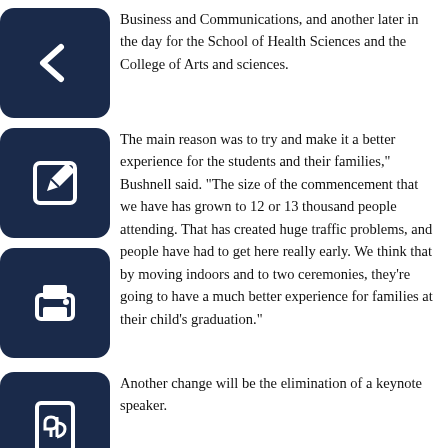Business and Communications, and another later in the day for the School of Health Sciences and the College of Arts and sciences.
The main reason was to try and make it a better experience for the students and their families,” Bushnell said. “The size of the commencement that we have has grown to 12 or 13 thousand people attending. That has created huge traffic problems, and people have had to get here really early. We think that by moving indoors and to two ceremonies, they’re going to have a much better experience for families at their child’s graduation.”
Another change will be the elimination of a keynote speaker.
They do add value to the ceremony, but we think that the more important message for students is going to come from people they already know,” Bushnell said.
But the Commencement Committee is looking to increase a sense of tradition in the ceremony.
We have talked some about increasing pomp and traditions that go along with the ceremony,” Bushnell said. “In year’s past, we have stripped away some of the traditions because the ceremony was growing so long. We’ve tried to return some of those types of things back to the ceremony, like the singing of the alma mater.”